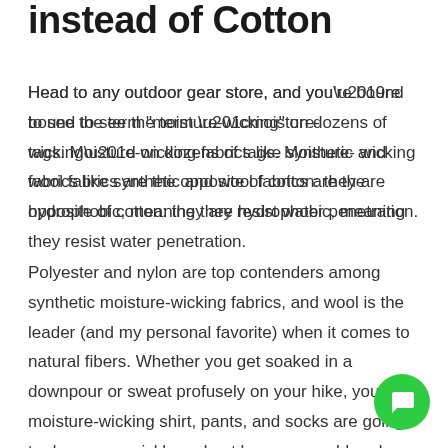instead of Cotton
Head to any outdoor gear store, and you’re bound to see the term “moisture-wicking” on dozens of tags. Moisture-wicking fabrics like synthetic and wool fabrics are the opposite of cotton: they are hydrophobic, meaning they resist water penetration.
Polyester and nylon are top contenders among synthetic moisture-wicking fabrics, and wool is the leader (and my personal favorite) when it comes to natural fibers. Whether you get soaked in a downpour or sweat profusely on your hike, your moisture-wicking shirt, pants, and socks are going to dry super quickly and not leave you cold and clammy like cotton will.